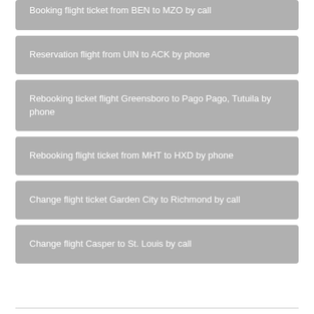Booking flight ticket from BEN to MZO by call
Reservation flight from UIN to ACK by phone
Rebooking ticket flight Greensboro to Pago Pago, Tutuila by phone
Rebooking flight ticket from MHT to HXD by phone
Change flight ticket Garden City to Richmond by call
Change flight Casper to St. Louis by call
Booking ticket flight from FGF to SIT by phone